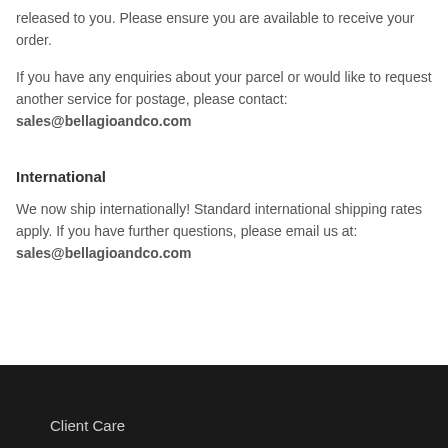released to you. Please ensure you are available to receive your order.
If you have any enquiries about your parcel or would like to request another service for postage, please contact: sales@bellagioandco.com
International
We now ship internationally! Standard international shipping rates apply. If you have further questions, please email us at: sales@bellagioandco.com
Client Care